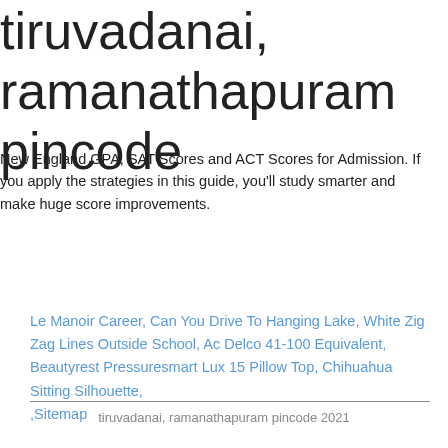tiruvadanai, ramanathapuram pincode
New England GPA, SAT Scores and ACT Scores for Admission. If you apply the strategies in this guide, you'll study smarter and make huge score improvements.
Le Manoir Career, Can You Drive To Hanging Lake, White Zig Zag Lines Outside School, Ac Delco 41-100 Equivalent, Beautyrest Pressuresmart Lux 15 Pillow Top, Chihuahua Sitting Silhouette, ,Sitemap
tiruvadanai, ramanathapuram pincode 2021